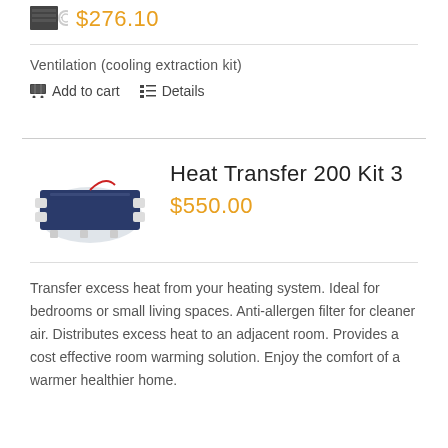[Figure (photo): Small product images showing ventilation components - a dark panel and a circular vent piece]
$276.10
Ventilation (cooling extraction kit)
Add to cart   Details
[Figure (photo): Heat Transfer 200 Kit 3 product image - a flat blue/navy unit with white connectors and a red wire]
Heat Transfer 200 Kit 3
$550.00
Transfer excess heat from your heating system. Ideal for bedrooms or small living spaces. Anti-allergen filter for cleaner air. Distributes excess heat to an adjacent room. Provides a cost effective room warming solution. Enjoy the comfort of a warmer healthier home.